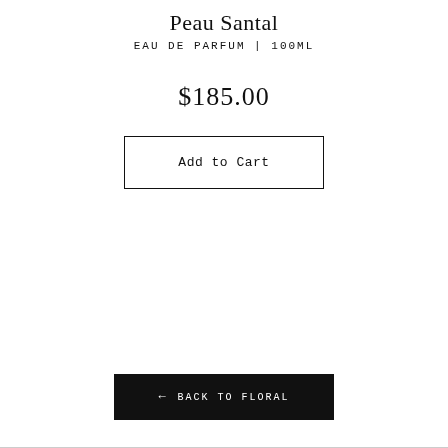Peau Santal
EAU DE PARFUM | 100ML
$185.00
Add to Cart
← BACK TO FLORAL